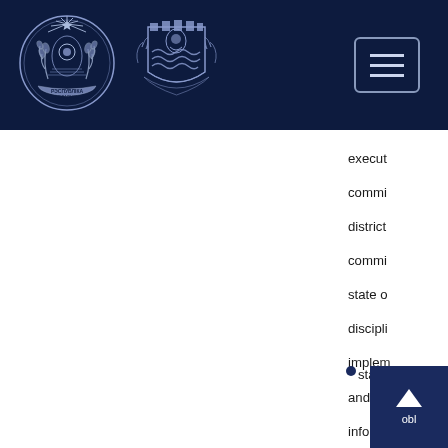[Figure (logo): Belarus state coat of arms - circular emblem with sun rays, agricultural motifs, and ribbon at bottom on dark navy background]
[Figure (logo): City coat of arms - shield with wavy lines and decorative flanking figures, on dark navy background]
[Figure (other): Hamburger menu button - three horizontal lines inside a rounded rectangle border]
execut commi district commi state o discipli implem and us informa techno the act state b obl